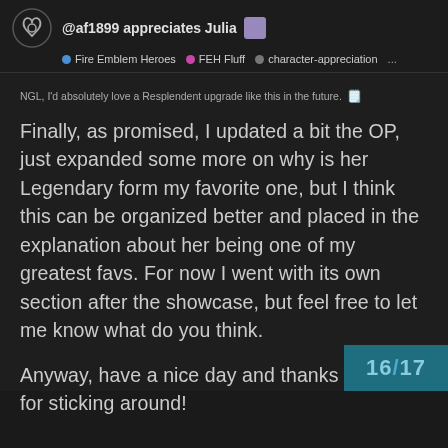@af1899 appreciates Julia | Fire Emblem Heroes · FEH Fluff · character-appreciation ...
NGL, I'd absolutely love a Resplendent upgrade like this in the future.
Finally, as promised, I updated a bit the OP, just expanded some more on why is her Legendary form my favorite one, but I think this can be organized better and placed in the explanation about her being one of my greatest favs. For now I went with its own section after the showcase, but feel free to let me know what do you think.
Anyway, have a nice day and thanks so much for sticking around!
16/17